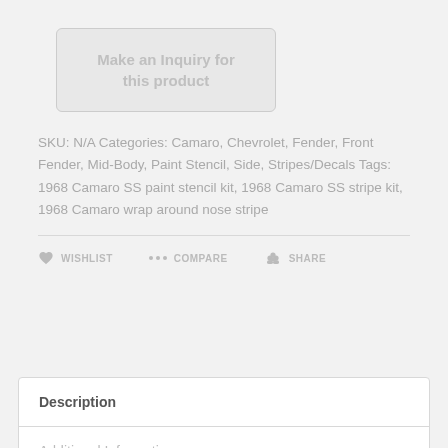[Figure (other): Button labeled 'Make an Inquiry for this product' with rounded rectangle border, light gray background]
SKU: N/A Categories: Camaro, Chevrolet, Fender, Front Fender, Mid-Body, Paint Stencil, Side, Stripes/Decals Tags: 1968 Camaro SS paint stencil kit, 1968 Camaro SS stripe kit, 1968 Camaro wrap around nose stripe
[Figure (other): Action row with WISHLIST (heart icon), COMPARE (dots icon), and SHARE (people icon) buttons]
| Description |
| Additional Information |